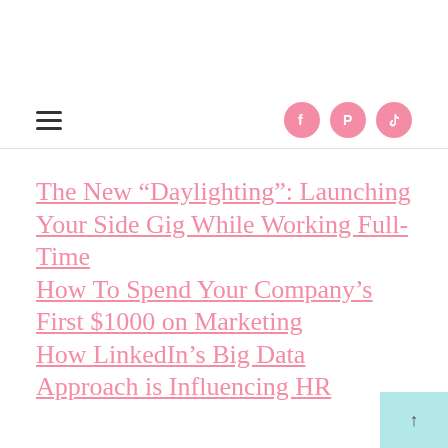Navigation bar with hamburger menu and social icons (Facebook, Pinterest, TikTok)
The New “Daylighting”: Launching Your Side Gig While Working Full-Time
How To Spend Your Company’s First $1000 on Marketing
How LinkedIn’s Big Data Approach is Influencing HR